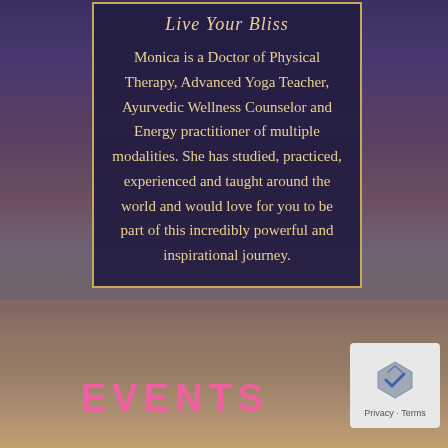Live Your Bliss
Monica is a Doctor of Physical Therapy, Advanced Yoga Teacher, Ayurvedic Wellness Counselor and Energy practitioner of multiple modalities. She has studied, practiced, experienced and taught around the world and would love for you to be part of this incredibly powerful and inspirational journey.
EVENTS
[Figure (logo): reCAPTCHA privacy badge with chevron icon and Privacy - Terms text]